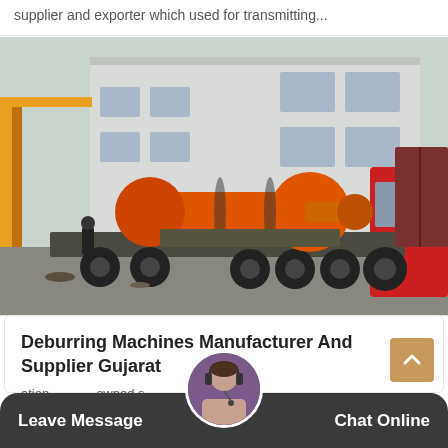supplier and exporter which used for transmitting...
[Figure (photo): Large orange ball mill industrial machine loaded on a flatbed truck outside a factory building, with a worker standing nearby and a yellow crane structure visible on the left.]
Deburring Machines Manufacturer And Supplier Gujarat
ation owned s wide range of industrial products was establish o
Leave Message
Chat Online